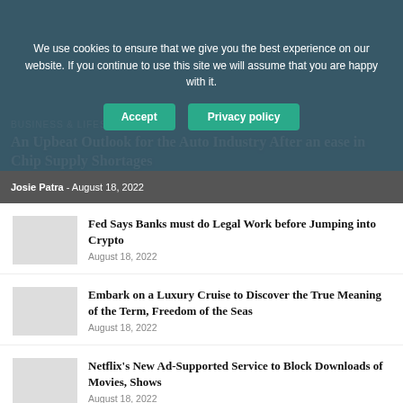We use cookies to ensure that we give you the best experience on our website. If you continue to use this site we will assume that you are happy with it.
Accept | Privacy policy
An Upbeat Outlook for the Auto Industry After an ease in Chip Supply Shortages
Josie Patra - August 18, 2022
Fed Says Banks must do Legal Work before Jumping into Crypto
August 18, 2022
Embark on a Luxury Cruise to Discover the True Meaning of the Term, Freedom of the Seas
August 18, 2022
Netflix's New Ad-Supported Service to Block Downloads of Movies, Shows
August 18, 2022